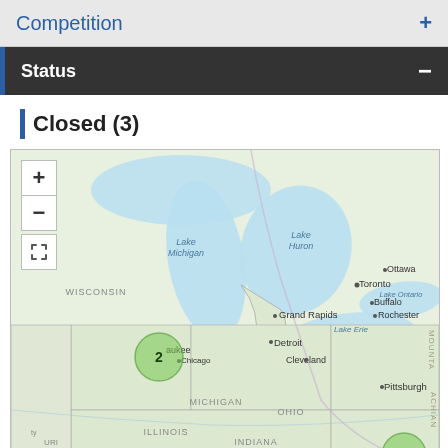Competition
Status
Closed (3)
[Figure (map): Interactive map showing the Great Lakes region of the United States and Canada, including states Wisconsin, Michigan, Illinois, Indiana, Ohio, and parts of surrounding areas. Two green cluster markers are visible: one labeled '2' near Milwaukee, and one labeled '1' in the western Pennsylvania/Virginia area. Map controls include zoom in (+), zoom out (-), and fullscreen buttons in the upper left.]